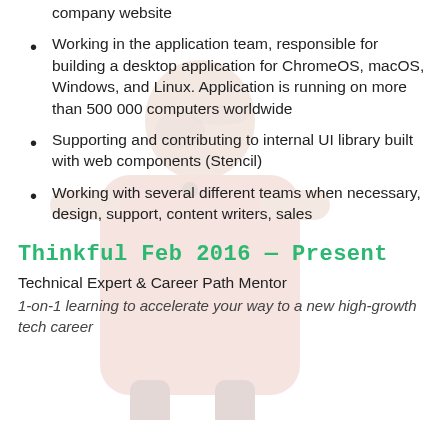company website
Working in the application team, responsible for building a desktop application for ChromeOS, macOS, Windows, and Linux. Application is running on more than 500 000 computers worldwide
Supporting and contributing to internal UI library built with web components (Stencil)
Working with several different teams when necessary, design, support, content writers, sales
Thinkful Feb 2016 — Present
Technical Expert & Career Path Mentor
1-on-1 learning to accelerate your way to a new high-growth tech career